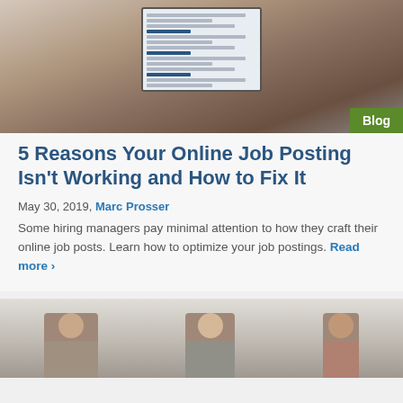[Figure (photo): Person typing on a laptop showing job listings on screen]
5 Reasons Your Online Job Posting Isn't Working and How to Fix It
May 30, 2019, Marc Prosser
Some hiring managers pay minimal attention to how they craft their online job posts. Learn how to optimize your job postings. Read more >
[Figure (photo): Two people in what appears to be a workplace or training environment]